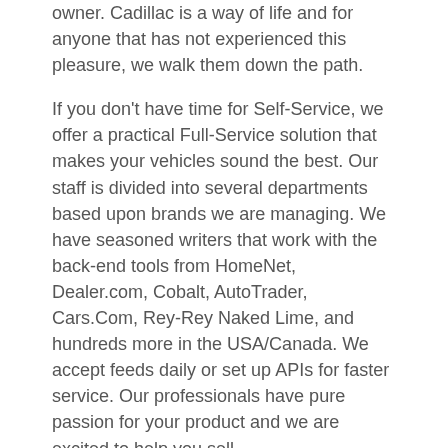owner. Cadillac is a way of life and for anyone that has not experienced this pleasure, we walk them down the path.
If you don't have time for Self-Service, we offer a practical Full-Service solution that makes your vehicles sound the best. Our staff is divided into several departments based upon brands we are managing. We have seasoned writers that work with the back-end tools from HomeNet, Dealer.com, Cobalt, AutoTrader, Cars.Com, Rey-Rey Naked Lime, and hundreds more in the USA/Canada. We accept feeds daily or set up APIs for faster service. Our professionals have pure passion for your product and we are excited to help you sell.
Cadillac Brand Manager